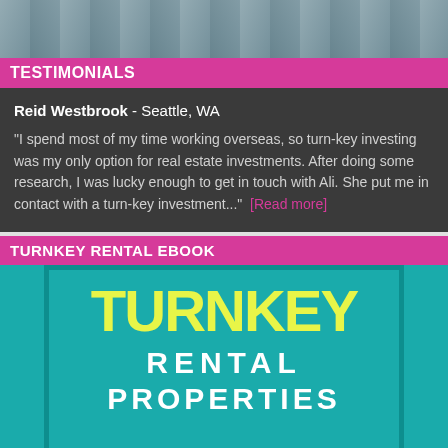[Figure (photo): Partial photo at top of page, showing water or outdoor scene in muted blue-grey tones]
TESTIMONIALS
Reid Westbrook - Seattle, WA
"I spend most of my time working overseas, so turn-key investing was my only option for real estate investments. After doing some research, I was lucky enough to get in touch with Ali. She put me in contact with a turn-key investment..." [Read more]
TURNKEY RENTAL EBOOK
[Figure (illustration): Book cover for 'Turnkey Rental Properties' with teal background, yellow large text 'TURNKEY' and white text 'RENTAL PROPERTIES' below]